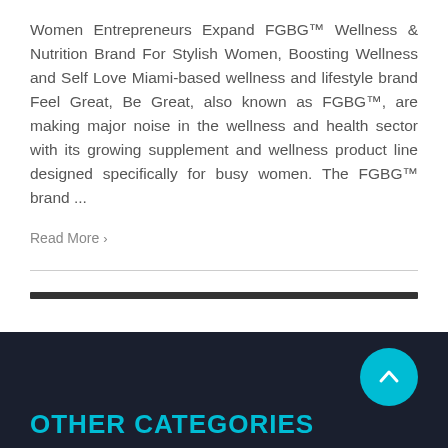Women Entrepreneurs Expand FGBG™ Wellness & Nutrition Brand For Stylish Women, Boosting Wellness and Self Love Miami-based wellness and lifestyle brand Feel Great, Be Great, also known as FGBG™, are making major noise in the wellness and health sector with its growing supplement and wellness product line designed specifically for busy women. The FGBG™ brand ...
Read More ›
OTHER CATEGORIES